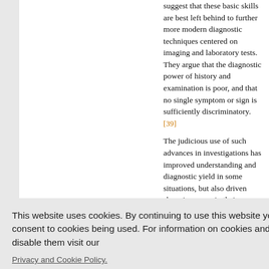suggest that these basic skills are best left behind to further more modern diagnostic techniques centered on imaging and laboratory tests. They argue that the diagnostic power of history and examination is poor, and that no single symptom or sign is sufficiently discriminatory. [39]
The judicious use of such advances in investigations has improved understanding and diagnostic yield in some situations, but also driven sharp increases in their use
d medico- otect igation. aging
d a spirali- ging (MRI c yield.
cal history tional have the of
This website uses cookies. By continuing to use this website you are giving consent to cookies being used. For information on cookies and how you can disable them visit our
Privacy and Cookie Policy.
AGREE & PROCEED
unnecessary investigation, but also to tar